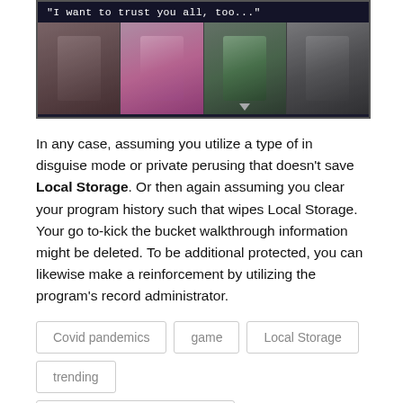[Figure (screenshot): A screenshot from the visual novel game 'Your Turn to Die' showing a dialogue bar at the top reading '"I want to trust you all, too..."' and four character face panels below.]
In any case, assuming you utilize a type of in disguise mode or private perusing that doesn't save Local Storage. Or then again assuming you clear your program history such that wipes Local Storage. Your go to-kick the bucket walkthrough information might be deleted. To be additional protected, you can likewise make a reinforcement by utilizing the program's record administrator.
Covid pandemics
game
Local Storage
trending
Your Turn to Die Walkthrough